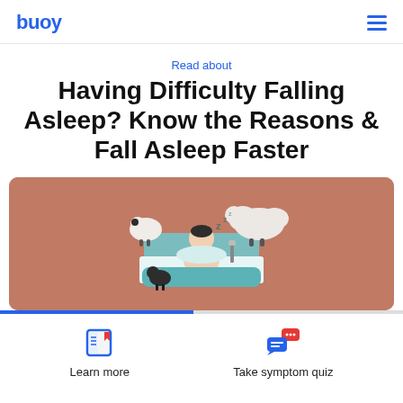buoy
Read about
Having Difficulty Falling Asleep? Know the Reasons & Fall Asleep Faster
[Figure (illustration): Illustration of a person lying in bed surrounded by sheep on a brown/terracotta background, representing difficulty falling asleep]
Learn more
Take symptom quiz